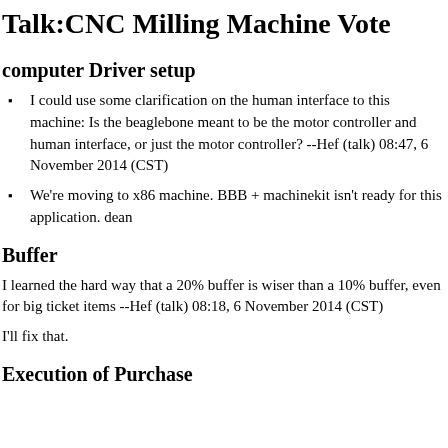Talk:CNC Milling Machine Vote
computer Driver setup
I could use some clarification on the human interface to this machine: Is the beaglebone meant to be the motor controller and human interface, or just the motor controller? --Hef (talk) 08:47, 6 November 2014 (CST)
We're moving to x86 machine. BBB + machinekit isn't ready for this application. dean
Buffer
I learned the hard way that a 20% buffer is wiser than a 10% buffer, even for big ticket items --Hef (talk) 08:18, 6 November 2014 (CST)
I'll fix that.
Execution of Purchase